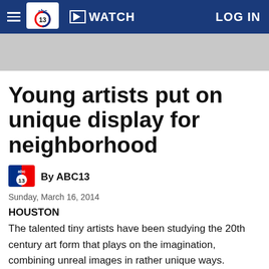ABC13 navigation bar with logo, WATCH button, and LOG IN
[Figure (other): Gray advertisement banner placeholder]
Young artists put on unique display for neighborhood
By ABC13
Sunday, March 16, 2014
HOUSTON
The talented tiny artists have been studying the 20th century art form that plays on the imagination, combining unreal images in rather unique ways.
"This is one of our favorite days at Poe. The kids absolutely